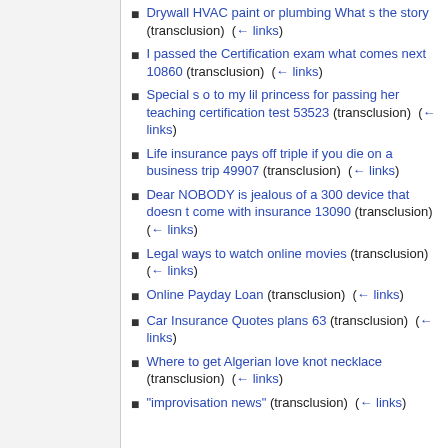Drywall HVAC paint or plumbing What s the story (transclusion) (← links)
I passed the Certification exam what comes next 10860 (transclusion) (← links)
Special s o to my lil princess for passing her teaching certification test 53523 (transclusion) (← links)
Life insurance pays off triple if you die on a business trip 49907 (transclusion) (← links)
Dear NOBODY is jealous of a 300 device that doesn t come with insurance 13090 (transclusion) (← links)
Legal ways to watch online movies (transclusion) (← links)
Online Payday Loan (transclusion) (← links)
Car Insurance Quotes plans 63 (transclusion) (← links)
Where to get Algerian love knot necklace (transclusion) (← links)
"improvisation news" (transclusion) (← links)